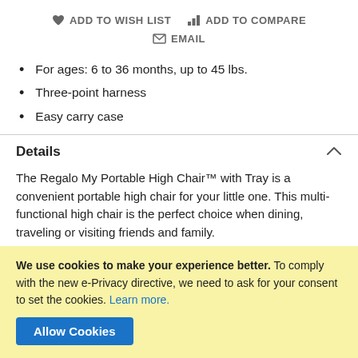ADD TO WISH LIST   ADD TO COMPARE   EMAIL
For ages: 6 to 36 months, up to 45 lbs.
Three-point harness
Easy carry case
Details
The Regalo My Portable High Chair™ with Tray is a convenient portable high chair for your little one. This multi-functional high chair is the perfect choice when dining, traveling or visiting friends and family.
We use cookies to make your experience better. To comply with the new e-Privacy directive, we need to ask for your consent to set the cookies. Learn more.